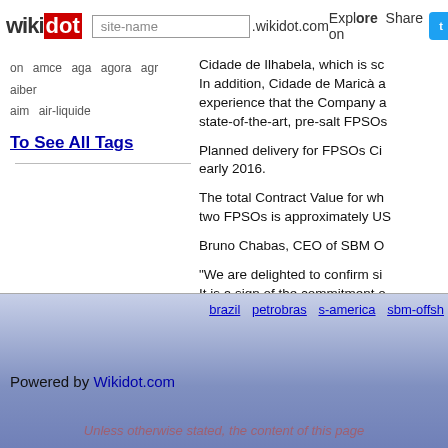wikidot | site-name .wikidot.com | Explore | Share on
on   amce   aga   agora   agr   aiber
aim   air-liquide
To See All Tags
Cidade de Ilhabela, which is sc... In addition, Cidade de Maricà a... experience that the Company a... state-of-the-art, pre-salt FPSOs...
Planned delivery for FPSOs Ci... early 2016.
The total Contract Value for wh... two FPSOs is approximately US...
Bruno Chabas, CEO of SBM O...
"We are delighted to confirm si... It is a sign of the commitment o... comprised of our most experien... pleased to proceed with the offi...
Contracts finalised for Al...
brazil   petrobras   s-america   sbm-offsh...
Powered by Wikidot.com
Unless otherwise stated, the content of this page...